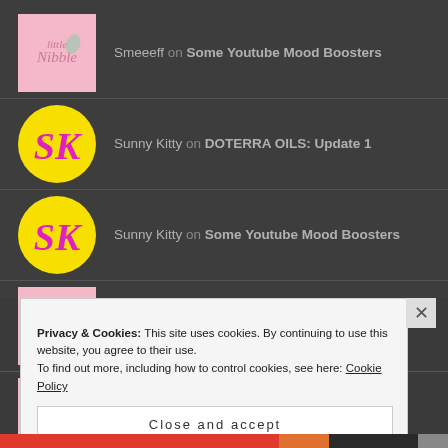Smeeeff on Some Youtube Mood Boosters
Sunny Kitty on DOTERRA OILS: Update 1
Sunny Kitty on Some Youtube Mood Boosters
Smeeeff on DOTERRA OILS: Update 1
Smeeeff on Some Youtube Mood Boosters
Privacy & Cookies: This site uses cookies. By continuing to use this website, you agree to their use.
To find out more, including how to control cookies, see here: Cookie Policy
Close and accept